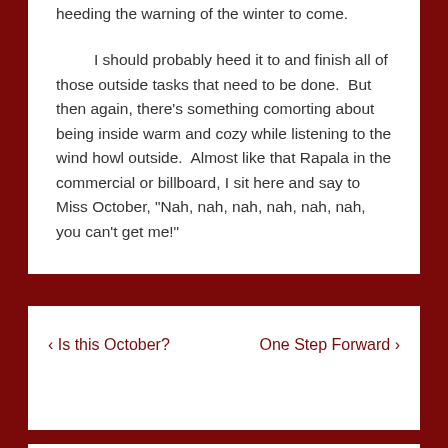heeding the warning of the winter to come.

    I should probably heed it to and finish all of those outside tasks that need to be done.  But then again, there's something comorting about being inside warm and cozy while listening to the wind howl outside.  Almost like that Rapala in the commercial or billboard, I sit here and say to Miss October, "Nah, nah, nah, nah, nah, nah, you can't get me!"
‹ Is this October?    One Step Forward ›